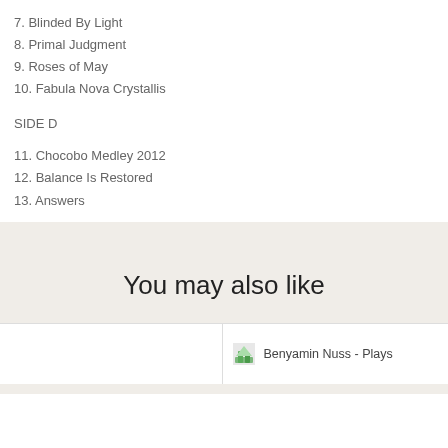7. Blinded By Light
8. Primal Judgment
9. Roses of May
10. Fabula Nova Crystallis
SIDE D
11. Chocobo Medley 2012
12. Balance Is Restored
13. Answers
You may also like
Benyamin Nuss - Plays